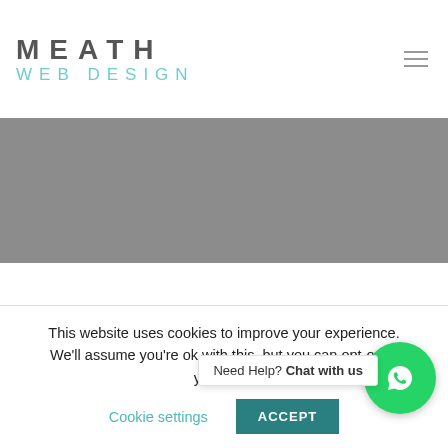MEATH WEB DESIGN
[Figure (photo): Gray banner/hero image area]
This website uses cookies to improve your experience. We'll assume you're ok with this, but you can opt-out if you wish. Cookie settings ACCEPT
[Figure (other): WhatsApp chat button with Need Help? Chat with us popup]